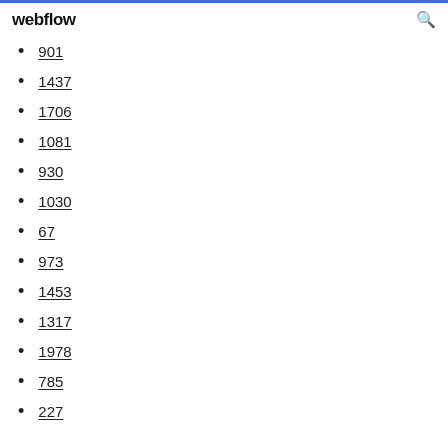webflow
901
1437
1706
1081
930
1030
67
973
1453
1317
1978
785
227